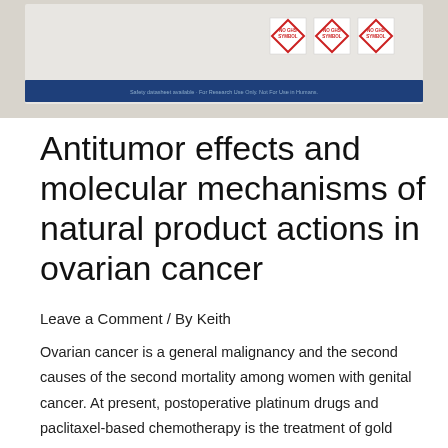[Figure (photo): Photo of a product label or safety data sheet with GHS hazard symbols (red diamond warning symbols labeled NO GHS SYMBOL) on a blue bordered information panel, placed on a light surface.]
Antitumor effects and molecular mechanisms of natural product actions in ovarian cancer
Leave a Comment / By Keith
Ovarian cancer is a general malignancy and the second causes of the second mortality among women with genital cancer. At present, postoperative platinum drugs and paclitaxel-based chemotherapy is the treatment of gold standard for ovarian cancer. However, patients who accept these chemotherapy often experience cumulative and susceptible toxic effects on chemotherapy resistance. Therefore, it is